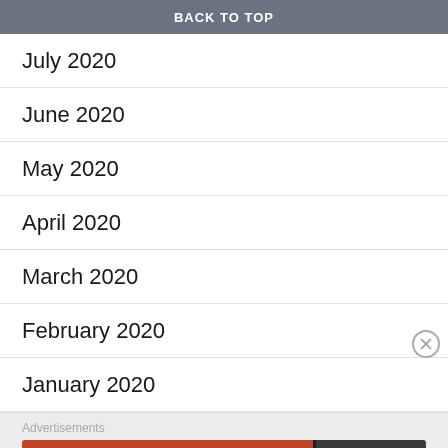BACK TO TOP
July 2020
June 2020
May 2020
April 2020
March 2020
February 2020
January 2020
Advertisements
[Figure (screenshot): DuckDuckGo advertisement banner: orange-red background with text 'Search, browse, and email with more privacy. All in One Free App' on the left, and DuckDuckGo logo with duck icon on dark background on the right.]